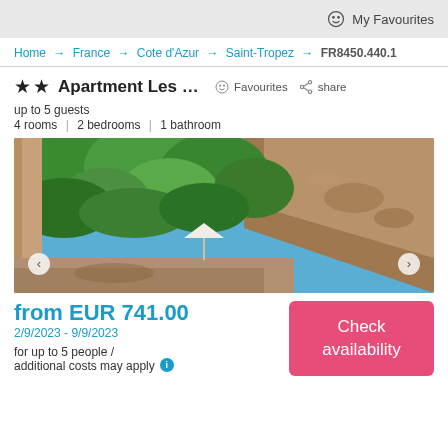My Favourites
Home → France → Cote d'Azur → Saint-Tropez → FR8450.440.1
★★ Apartment Les Ch...
Favourites  share
up to 5 guests
4 rooms | 2 bedrooms | 1 bathroom
[Figure (photo): Outdoor photo of an apartment property showing lush green trees and hillside with rocky slope, blue sky, and a white umbrella on a terrace.]
from EUR 741.00
2/9/2023 - 9/9/2023
for up to 5 people / additional costs may apply
Check availability